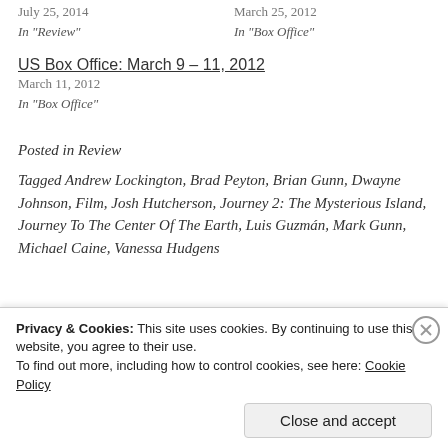July 25, 2014
In "Review"
March 25, 2012
In "Box Office"
US Box Office: March 9 – 11, 2012
March 11, 2012
In "Box Office"
Posted in Review
Tagged Andrew Lockington, Brad Peyton, Brian Gunn, Dwayne Johnson, Film, Josh Hutcherson, Journey 2: The Mysterious Island, Journey To The Center Of The Earth, Luis Guzmán, Mark Gunn, Michael Caine, Vanessa Hudgens
Privacy & Cookies: This site uses cookies. By continuing to use this website, you agree to their use. To find out more, including how to control cookies, see here: Cookie Policy